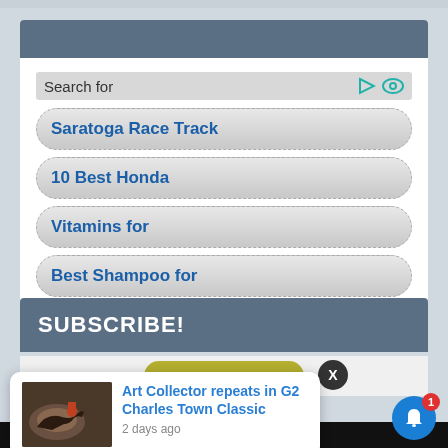[Figure (screenshot): Search widget with label 'Search for' and icon buttons, showing four search suggestion buttons: 'Saratoga Race Track', '10 Best Honda', 'Vitamins for', 'Best Shampoo for']
SUBSCRIBE!
[Figure (screenshot): Notification popup card with horse racing image and text: 'Art Collector repeats in G2 Charles Town Classic', '2 days ago']
2. Best Oil for Hair Growth